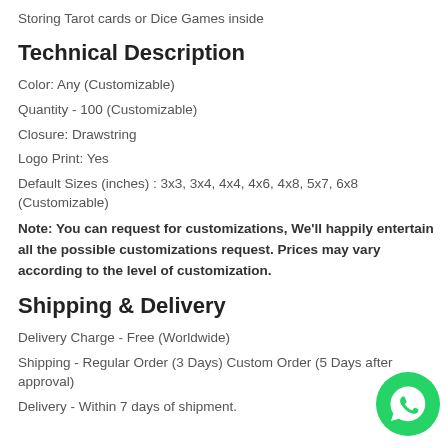Storing Tarot cards or Dice Games inside
Technical Description
Color: Any (Customizable)
Quantity - 100 (Customizable)
Closure: Drawstring
Logo Print: Yes
Default Sizes (inches) : 3x3, 3x4, 4x4, 4x6, 4x8, 5x7, 6x8 (Customizable)
Note: You can request for customizations, We'll happily entertain all the possible customizations request. Prices may vary according to the level of customization.
Shipping & Delivery
Delivery Charge - Free (Worldwide)
Shipping - Regular Order (3 Days) Custom Order (5 Days after approval)
Delivery - Within 7 days of shipment.
[Figure (illustration): WhatsApp contact button - green circle with white phone icon]